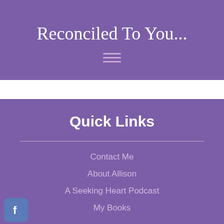Reconciled To You...
[Figure (other): Hamburger menu icon with three horizontal lines]
Quick Links
Contact Me
About Allison
A Seeking Heart Podcast
My Books
[Figure (logo): Facebook icon - white letter f on blue-grey rounded square background]